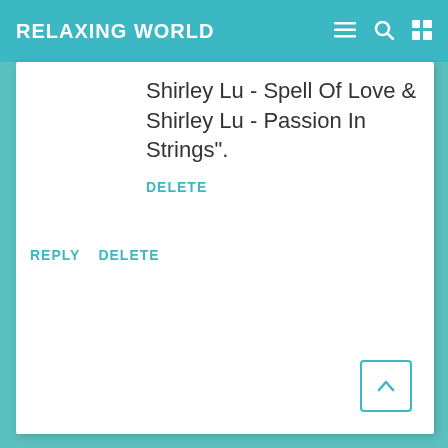RELAXING WORLD
Shirley Lu - Spell Of Love & Shirley Lu - Passion In Strings".
DELETE
REPLY   DELETE